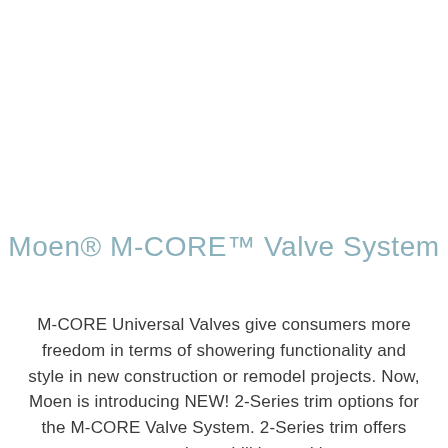Moen® M-CORE™ Valve System
M-CORE Universal Valves give consumers more freedom in terms of showering functionality and style in new construction or remodel projects. Now, Moen is introducing NEW! 2-Series trim options for the M-CORE Valve System. 2-Series trim offers temperature control capabilities and is pressure-balanced, while the 3-Series trim offers both temperature and volume control. Mixing Valve cartridges are included in both the 2-Series and 3-Series trim options, and they're interchangeable; opening up limitless design possibilities for